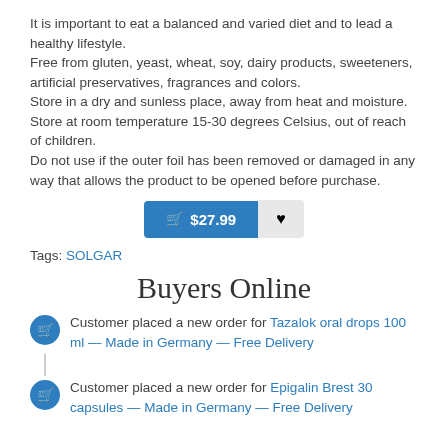It is important to eat a balanced and varied diet and to lead a healthy lifestyle.
Free from gluten, yeast, wheat, soy, dairy products, sweeteners, artificial preservatives, fragrances and colors.
Store in a dry and sunless place, away from heat and moisture.
Store at room temperature 15-30 degrees Celsius, out of reach of children.
Do not use if the outer foil has been removed or damaged in any way that allows the product to be opened before purchase.
🛒 $27.99 ♥ (cart and wishlist buttons)
Tags: SOLGAR
Buyers Online
Customer placed a new order for Tazalok oral drops 100 ml — Made in Germany — Free Delivery
Customer placed a new order for Epigalin Brest 30 capsules — Made in Germany — Free Delivery